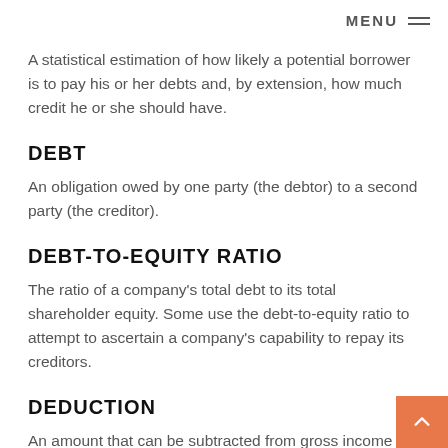MENU ≡
A statistical estimation of how likely a potential borrower is to pay his or her debts and, by extension, how much credit he or she should have.
DEBT
An obligation owed by one party (the debtor) to a second party (the creditor).
DEBT-TO-EQUITY RATIO
The ratio of a company's total debt to its total shareholder equity. Some use the debt-to-equity ratio to attempt to ascertain a company's capability to repay its creditors.
DEDUCTION
An amount that can be subtracted from gross income